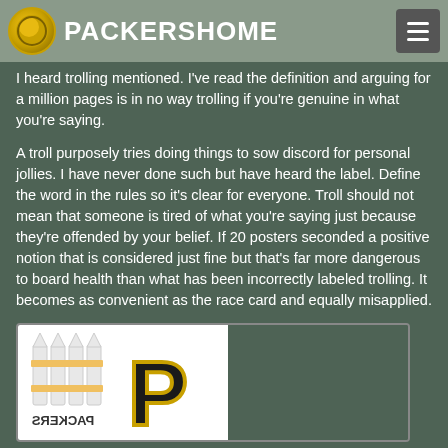PACKERSHOME
I heard trolling mentioned. I've read the definition and arguing for a million pages is in no way trolling if you're genuine in what you're saying.
A troll purposely tries doing things to sow discord for personal jollies. I have never done such but have heard the label. Define the word in the rules so it's clear for everyone. Troll should not mean that someone is tired of what you're saying just because they're offended by your belief. If 20 posters seconded a positive notion that is considered just fine but that's far more dangerous to board health than what has been incorrectly labeled trolling. It becomes as convenient as the race card and equally misapplied.
[Figure (logo): PackersHome logo with fence and large letter P in dark with gold outline, text PACKERS mirrored below]